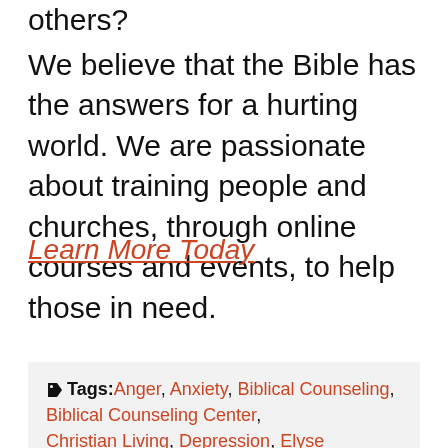others? We believe that the Bible has the answers for a hurting world. We are passionate about training people and churches, through online courses and events, to help those in need.
Learn More Today
Tags: Anger, Anxiety, Biblical Counseling, Biblical Counseling Center, Christian Living, Depression, Elyse Fitzpatrick, Emotions, Fear, Lucy App